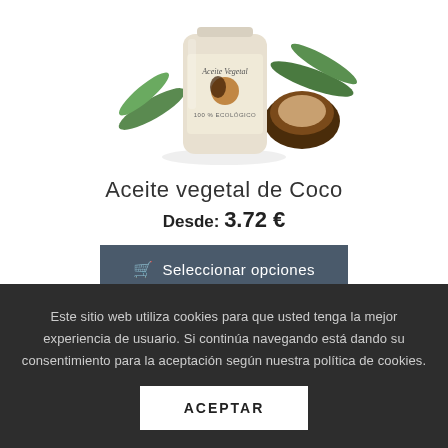[Figure (photo): Product photo of a coconut oil jar labeled 'Aceite Vegetal 100% Ecológico' with a coconut half and green leaves]
Aceite vegetal de Coco
Desde: 3.72 €
🛒 Seleccionar opciones
Este sitio web utiliza cookies para que usted tenga la mejor experiencia de usuario. Si continúa navegando está dando su consentimiento para la aceptación según nuestra política de cookies.
ACEPTAR